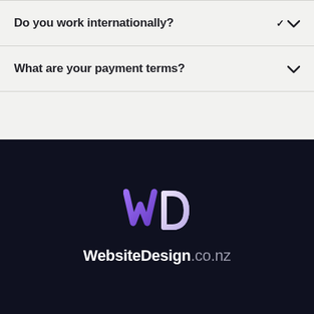Do you work internationally?
What are your payment terms?
[Figure (logo): WebsiteDesign.co.nz logo with stylized purple W and white D letters]
WebsiteDesign.co.nz